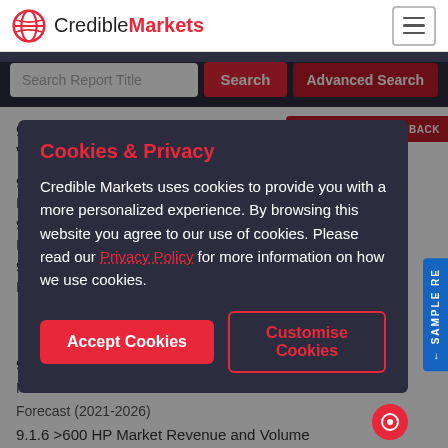CredibleMarkets
Search Report Title
9.1 Global Wakeboard Boat Market Revenue & Volume Forecast (2021-2026)
9.1.1
9.1.2
9.1.3
9.1.4
9.1.5
Forecast (2021-2026)
9.1.6 >600 HP Market Revenue and Volume
[Figure (screenshot): Cookies & Privacy modal overlay on CredibleMarkets website. Modal contains title 'Cookies & Privacy' in red, body text describing cookie usage, Privacy Policy link, Accept Cookies button (red), and Customise Cookies button (outlined).]